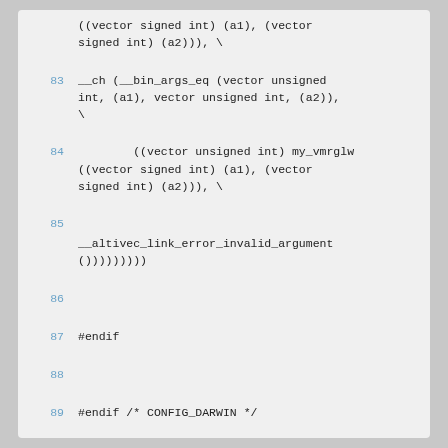((vector signed int) (a1), (vector signed int) (a2))), \
83    __ch (__bin_args_eq (vector unsigned int, (a1), vector unsigned int, (a2)), \
84            ((vector unsigned int) my_vmrglw ((vector signed int) (a1), (vector signed int) (a2))), \
85    __altivec_link_error_invalid_argument ())))))))
86
87    #endif
88
89    #endif /* CONFIG_DARWIN */
90
91    #endif /* _GCC_FIXES_ */